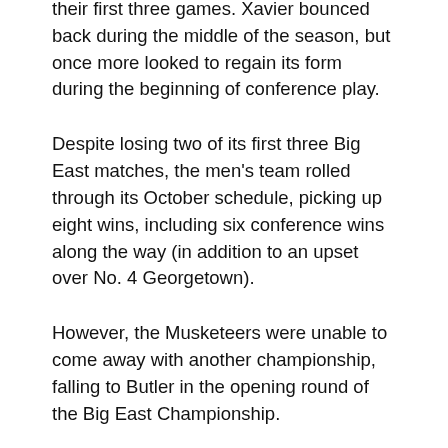their first three games. Xavier bounced back during the middle of the season, but once more looked to regain its form during the beginning of conference play.
Despite losing two of its first three Big East matches, the men's team rolled through its October schedule, picking up eight wins, including six conference wins along the way (in addition to an upset over No. 4 Georgetown).
However, the Musketeers were unable to come away with another championship, falling to Butler in the opening round of the Big East Championship.
The women's soccer team also had its sights set on a banner season, but was unable to hit its stride during the conference season.
The Musketeers entered Big East play with a 7-1-1